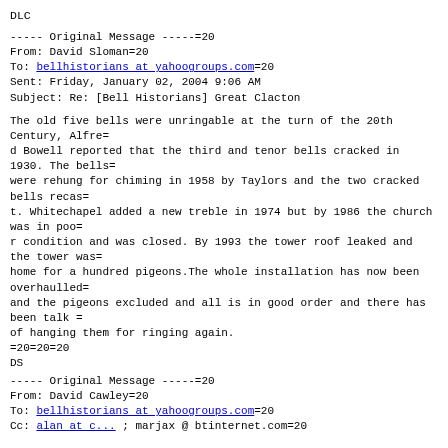DLC
----- Original Message -----=20
From: David Sloman=20
To: bellhistorians at yahoogroups.com=20
Sent: Friday, January 02, 2004 9:06 AM
Subject: Re: [Bell Historians] Great Clacton
The old five bells were unringable at the turn of the 20th Century, Alfre=
d Bowell reported that the third and tenor bells cracked in 1930. The bells=
were rehung for chiming in 1958 by Taylors and the two cracked bells recas=
t. Whitechapel added a new treble in 1974 but by 1986 the church was in poo=
r condition and was closed. By 1993 the tower roof leaked and the tower was=
home for a hundred pigeons.The whole installation has now been overhaulled=
and the pigeons excluded and all is in good order and there has been talk =
of hanging them for ringing again.
=20=20=20
DS
----- Original Message -----=20
From: David Cawley=20
To: bellhistorians at yahoogroups.com=20
Cc: alan at c... ; marjax @ btinternet.com=20